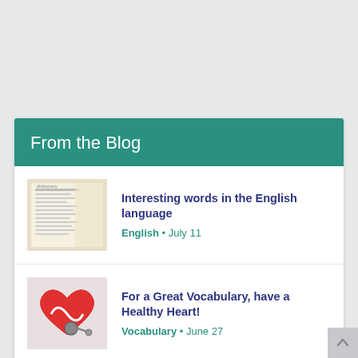From the Blog
Interesting words in the English language | English • July 11
For a Great Vocabulary, have a Healthy Heart! | Vocabulary • June 27
Meaning of existential and its usage | Meanings • 11 March